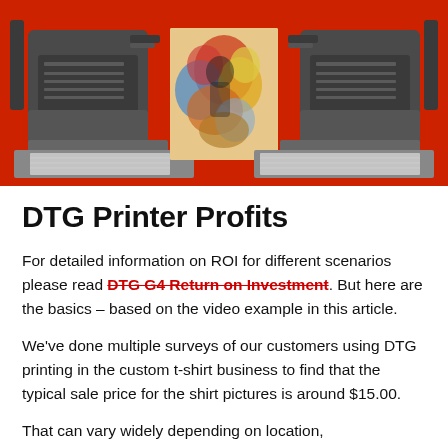[Figure (photo): Large format DTG printer on a red background with a colorful printed canvas/artwork displayed on the print bed between the two printer head units]
DTG Printer Profits
For detailed information on ROI for different scenarios please read DTG G4 Return on Investment. But here are the basics – based on the video example in this article.
We've done multiple surveys of our customers using DTG printing in the custom t-shirt business to find that the typical sale price for the shirt pictures is around $15.00.
That can vary widely depending on location,